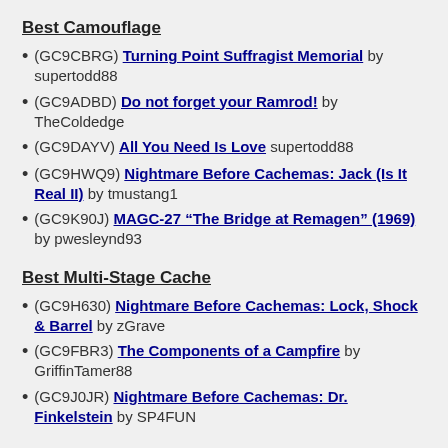Best Camouflage
(GC9CBRG) Turning Point Suffragist Memorial by supertodd88
(GC9ADBD) Do not forget your Ramrod! by TheColdedge
(GC9DAYV) All You Need Is Love supertodd88
(GC9HWQ9) Nightmare Before Cachemas: Jack (Is It Real II) by tmustang1
(GC9K90J) MAGC-27 “The Bridge at Remagen” (1969) by pwesleynd93
Best Multi-Stage Cache
(GC9H630) Nightmare Before Cachemas: Lock, Shock & Barrel by zGrave
(GC9FBR3) The Components of a Campfire by GriffinTamer88
(GC9J0JR) Nightmare Before Cachemas: Dr. Finkelstein by SP4FUN